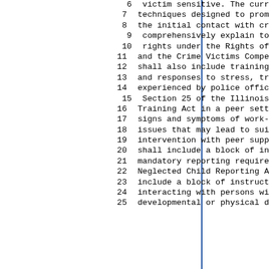6  victim sensitive. The curr
7  techniques designed to prom
8  the initial contact with cr
9  comprehensively explain to
10  rights under the Rights of
11  and the Crime Victims Compe
12  shall also include training
13  and responses to stress, tr
14  experienced by police offic
15  Section 25 of the Illinois
16  Training Act in a peer sett
17  signs and symptoms of work-
18  issues that may lead to sui
19  intervention with peer supp
20  shall include a block of in
21  mandatory reporting require
22  Neglected Child Reporting A
23  include a block of instruct
24  interacting with persons wi
25  developmental or physical d